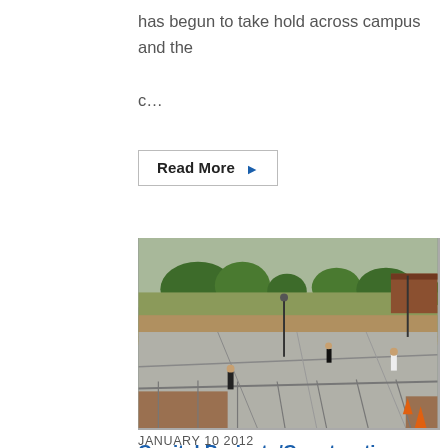has begun to take hold across campus and the c...
Read More ▶
[Figure (photo): Outdoor construction site on a university campus. Workers are seen on a paved area under construction, surrounded by chain-link fencing. Trees and a brick building are visible in the background.]
Capital Projects/Construction Update
JANUARY 10 2012